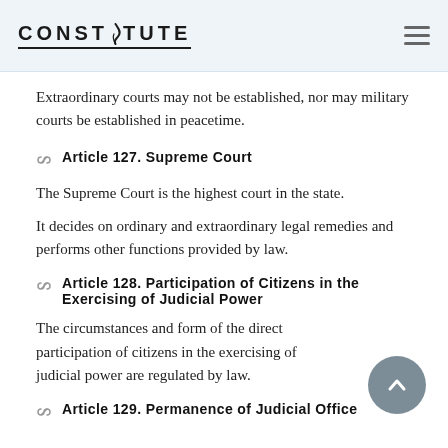CONSTITUTE
Extraordinary courts may not be established, nor may military courts be established in peacetime.
Article 127. Supreme Court
The Supreme Court is the highest court in the state.
It decides on ordinary and extraordinary legal remedies and performs other functions provided by law.
Article 128. Participation of Citizens in the Exercising of Judicial Power
The circumstances and form of the direct participation of citizens in the exercising of judicial power are regulated by law.
Article 129. Permanence of Judicial Office